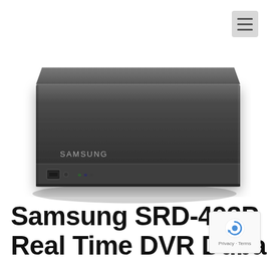[Figure (photo): Samsung SRD-493P DVR unit — a dark gray/black rectangular network video recorder device with the Samsung logo on the front panel, USB port, and status LEDs visible on the front face. Shot on white background.]
Samsung SRD-493P Real Time DVR Duba